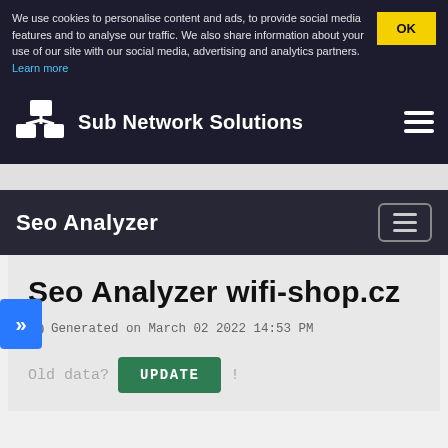We use cookies to personalise content and ads, to provide social media features and to analyse our traffic. We also share information about your use of our site with our social media, advertising and analytics partners. Learn more
Sub Network Solutions
Seo Analyzer
Seo Analyzer wifi-shop.cz
Generated on March 02 2022 14:53 PM
Old data? UPDATE !